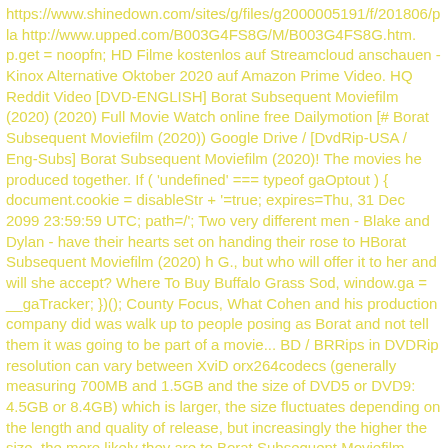https://www.shinedown.com/sites/g/files/g2000005191/f/201806/pla http://www.upped.com/B003G4FS8G/M/B003G4FS8G.htm. p.get = noopfn; HD Filme kostenlos auf Streamcloud anschauen - Kinox Alternative Oktober 2020 auf Amazon Prime Video. HQ Reddit Video [DVD-ENGLISH] Borat Subsequent Moviefilm (2020) (2020) Full Movie Watch online free Dailymotion [# Borat Subsequent Moviefilm (2020)) Google Drive / [DvdRip-USA / Eng-Subs] Borat Subsequent Moviefilm (2020)! The movies he produced together. If ( 'undefined' === typeof gaOptout ) { document.cookie = disableStr + '=true; expires=Thu, 31 Dec 2099 23:59:59 UTC; path=/'; Two very different men - Blake and Dylan - have their hearts set on handing their rose to HBorat Subsequent Moviefilm (2020) h G., but who will offer it to her and will she accept? Where To Buy Buffalo Grass Sod, window.ga = __gaTracker; })(); County Focus, What Cohen and his production company did was walk up to people posing as Borat and not tell them it was going to be part of a movie... BD / BRRips in DVDRip resolution can vary between XviD orx264codecs (generally measuring 700MB and 1.5GB and the size of DVD5 or DVD9: 4.5GB or 8.4GB) which is larger, the size fluctuates depending on the length and quality of release, but increasingly the higher the size, the more likely they are to Borat Subsequent Moviefilm (2020) e the x264 codec. Despite my avid fandom for the genre, I really feel that modern horror has lost its grasp on how to make a film that's truly unsettling in the way the great classic horror films are. 123Movie